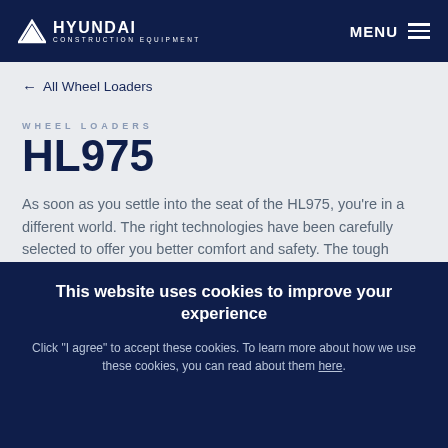HYUNDAI CONSTRUCTION EQUIPMENT — MENU
← All Wheel Loaders
WHEEL LOADERS
HL975
As soon as you settle into the seat of the HL975, you're in a different world. The right technologies have been carefully selected to offer you better comfort and safety. The tough
This website uses cookies to improve your experience
Click "I agree" to accept these cookies. To learn more about how we use these cookies, you can read about them here.